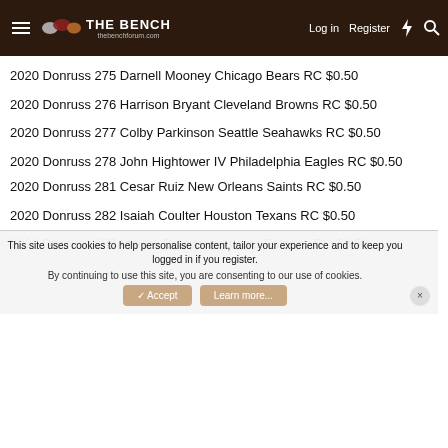The Bench - Log in | Register
2020 Donruss 275 Darnell Mooney Chicago Bears RC $0.50
2020 Donruss 276 Harrison Bryant Cleveland Browns RC $0.50
2020 Donruss 277 Colby Parkinson Seattle Seahawks RC $0.50
2020 Donruss 278 John Hightower IV Philadelphia Eagles RC $0.50
2020 Donruss 281 Cesar Ruiz New Orleans Saints RC $0.50
2020 Donruss 282 Isaiah Coulter Houston Texans RC $0.50
2020 Donruss 285 Marlon Davidson Atlanta Falcons RC $0.50
This site uses cookies to help personalise content, tailor your experience and to keep you logged in if you register. By continuing to use this site, you are consenting to our use of cookies.